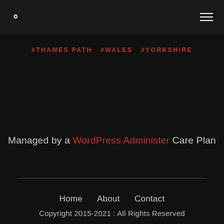Search | Menu
#THAMES PATH  #WALES  #YORKSHIRE
Managed by a WordPress Administer Care Plan
Home  About  Contact
Copyright 2015-2021 : All Rights Reserved